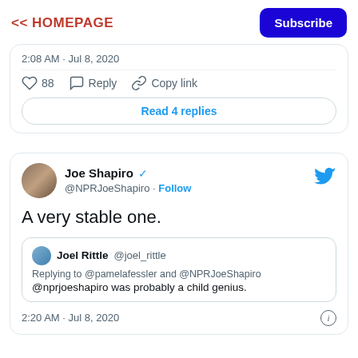<< HOMEPAGE  Subscribe
[Figure (screenshot): Partial Twitter/X tweet card showing timestamp 2:08 AM · Jul 8, 2020 with like count 88, Reply, Copy link actions, and a Read 4 replies button]
[Figure (screenshot): Twitter/X tweet card by Joe Shapiro (@NPRJoeShapiro) with verified badge, Follow button, and Twitter bird icon. Tweet text: 'A very stable one.' Quoted tweet from Joel Rittle @joel_rittle replying to @pamelafessler and @NPRJoeShapiro: '@nprjoeshapiro was probably a child genius.' Timestamp: 2:20 AM · Jul 8, 2020]